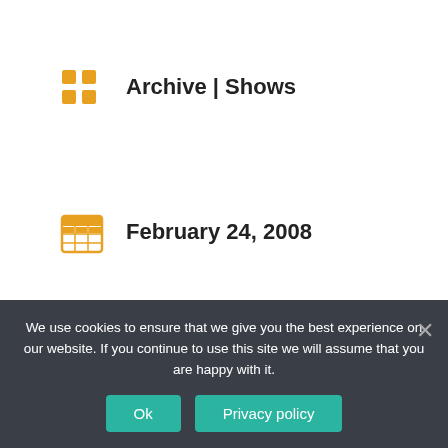Archive | Shows
February 24, 2008
0 Comment(s)
← Previous Link: Coconut Grove -- getting too commercial?
Next Link: Cold Rain and Snow →
We use cookies to ensure that we give you the best experience on our website. If you continue to use this site we will assume that you are happy with it.